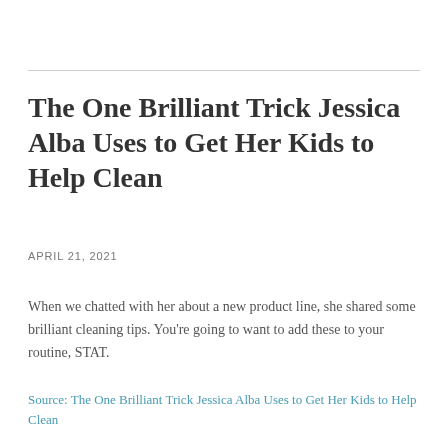The One Brilliant Trick Jessica Alba Uses to Get Her Kids to Help Clean
APRIL 21, 2021
When we chatted with her about a new product line, she shared some brilliant cleaning tips. You're going to want to add these to your routine, STAT.
Source: The One Brilliant Trick Jessica Alba Uses to Get Her Kids to Help Clean